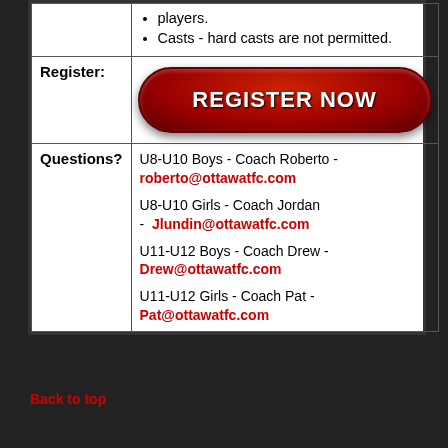|  |  |
| --- | --- |
|  | players.
• Casts - hard casts are not permitted. |
| Register: | REGISTER NOW |
| Questions? | U8-U10 Boys - Coach Roberto - roberto@ottawatfc.com
U8-U10 Girls - Coach Jordan - Jlundin@ottawatfc.com
U11-U12 Boys - Coach Drew - Drew@ottawatfc.com
U11-U12 Girls - Coach Pat - Pat@ottawatfc.com |
Back to top